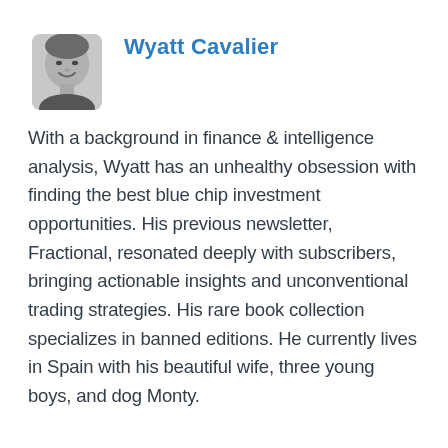[Figure (photo): Headshot photo of Wyatt Cavalier, a man smiling, in black and white circular/rounded crop]
Wyatt Cavalier
With a background in finance & intelligence analysis, Wyatt has an unhealthy obsession with finding the best blue chip investment opportunities. His previous newsletter, Fractional, resonated deeply with subscribers, bringing actionable insights and unconventional trading strategies. His rare book collection specializes in banned editions. He currently lives in Spain with his beautiful wife, three young boys, and dog Monty.